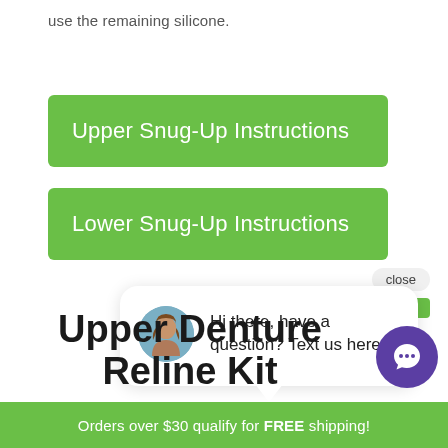use the remaining silicone.
Upper Snug-Up Instructions
Lower Snug-Up Instructions
[Figure (screenshot): Chat popup widget with female avatar and message: Hi there, have a question? Text us here. With a close button and purple chat icon.]
Upper Denture Reline Kit
Orders over $30 qualify for FREE shipping!